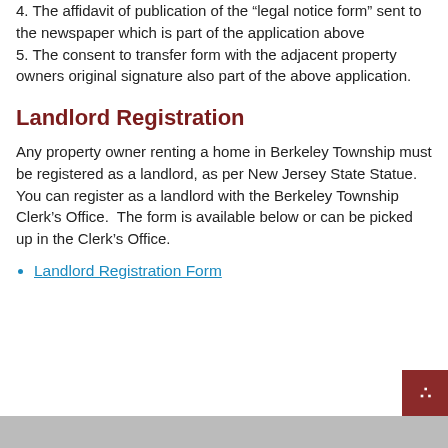4.  The affidavit of publication of the 'legal notice form' sent to the newspaper which is part of the application above
5.  The consent to transfer form with the adjacent property owners original signature also part of the above application.
Landlord Registration
Any property owner renting a home in Berkeley Township must be registered as a landlord, as per New Jersey State Statue. You can register as a landlord with the Berkeley Township Clerk’s Office.  The form is available below or can be picked up in the Clerk’s Office.
Landlord Registration Form